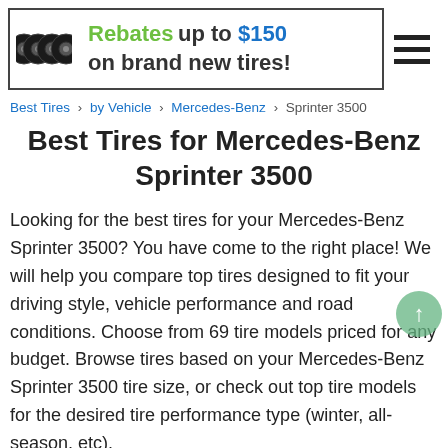[Figure (infographic): Banner advertisement showing four black tires on the left and text reading 'Rebates up to $150 on brand new tires!' with a hamburger menu icon in the top right corner.]
Best Tires > by Vehicle > Mercedes-Benz > Sprinter 3500
Best Tires for Mercedes-Benz Sprinter 3500
Looking for the best tires for your Mercedes-Benz Sprinter 3500? You have come to the right place! We will help you compare top tires designed to fit your driving style, vehicle performance and road conditions. Choose from 69 tire models priced for any budget. Browse tires based on your Mercedes-Benz Sprinter 3500 tire size, or check out top tire models for the desired tire performance type (winter, all-season, etc).
Mercedes-Benz Sprinter 3500 is a van that can be equipped with 2 OEM tire size sets based on model